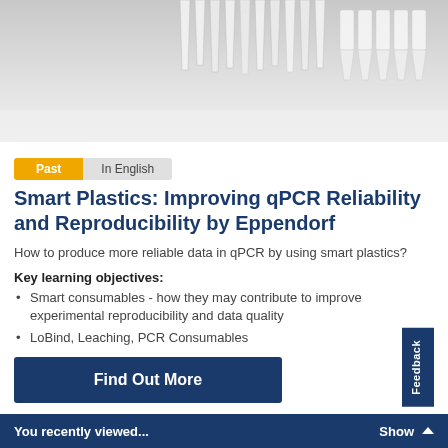[Figure (photo): Laboratory photo showing pipette tips and PCR tubes/vials arranged on a white background, viewed from above]
Past
In English
Smart Plastics: Improving qPCR Reliability and Reproducibility by Eppendorf
How to produce more reliable data in qPCR by using smart plastics?
Key learning objectives:
Smart consumables - how they may contribute to improve experimental reproducibility and data quality
LoBind, Leaching, PCR Consumables
Find Out More
You recently viewed...    Show ▲